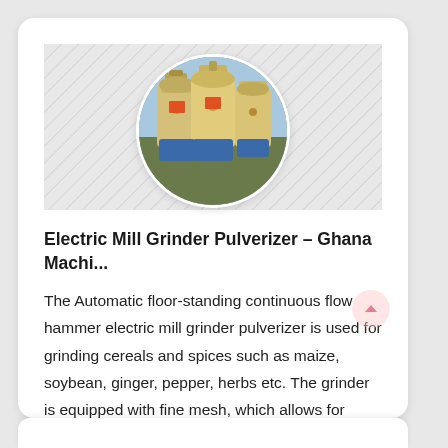[Figure (photo): Circular cropped photo of yellow industrial electric mill grinder pulverizer machines, shown against a hatched light background]
Electric Mill Grinder Pulverizer – Ghana Machi...
The Automatic floor-standing continuous flow hammer electric mill grinder pulverizer is used for grinding cereals and spices such as maize, soybean, ginger, pepper, herbs etc. The grinder is equipped with fine mesh, which allows for grinding materials into fine powder. The machine works at low noise without any vibrations